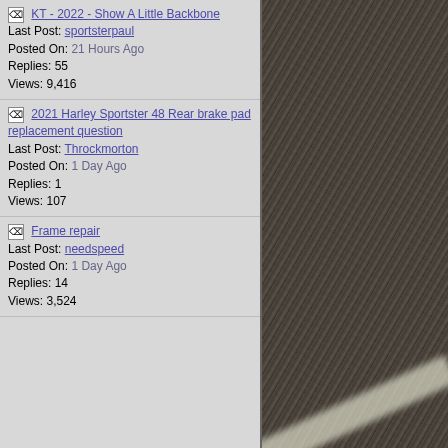KT - 2022 - Show A Little Backbone
Last Post: sportsterpaul
Posted On: 21 Hours Ago
Replies: 55
Views: 9,416
2021 Harley Sportster 48 Rear brake pad replacement question
Last Post: Throckmorton
Posted On: 1 Day Ago
Replies: 1
Views: 107
Frame repair
Last Post: needspeed
Posted On: 1 Day Ago
Replies: 14
Views: 3,524
[Figure (other): Orange More... button]
[Figure (photo): Close-up photo of rough asphalt/pavement texture with a diagonal white stripe]
[Figure (other): Amazon.com advertisement banner with infolinks label]
[Figure (other): Ad banner: Recommend: This Diabetes Treatment Will, with a plant/food image and blue arrow button, showing n/a text]